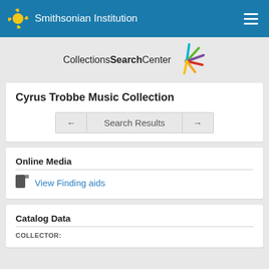Smithsonian Institution
[Figure (logo): Collections Search Center logo with colorful burst graphic]
Cyrus Trobbe Music Collection
Search Results (navigation with back and forward arrows)
Online Media
View Finding aids
Catalog Data
COLLECTOR: